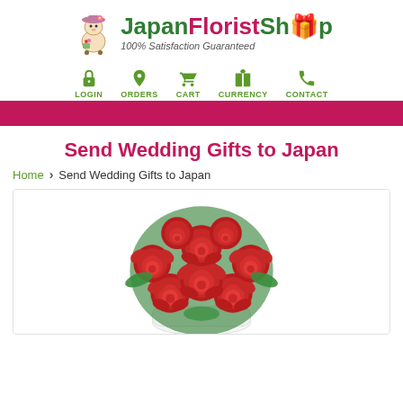[Figure (logo): JapanFloristShop logo with mascot character (cow/florist figure with hat) and green/pink brand name text, tagline '100% Satisfaction Guaranteed']
LOGIN  ORDERS  CART  CURRENCY  CONTACT
Send Wedding Gifts to Japan
Home > Send Wedding Gifts to Japan
[Figure (photo): A bouquet of red roses in a white holder/wrapping, viewed from above-front angle]